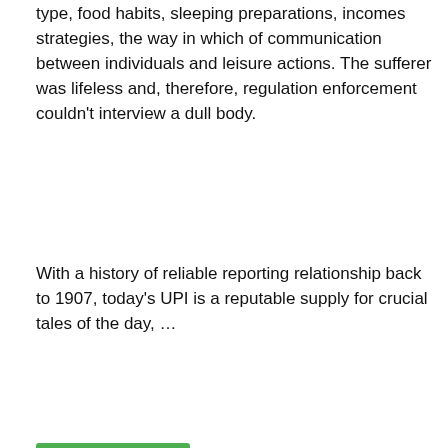type, food habits, sleeping preparations, incomes strategies, the way in which of communication between individuals and leisure actions. The sufferer was lifeless and, therefore, regulation enforcement couldn't interview a dull body.
With a history of reliable reporting relationship back to 1907, today's UPI is a reputable supply for crucial tales of the day, …
Read More
[Figure (photo): Gray placeholder image with a camera icon in white]